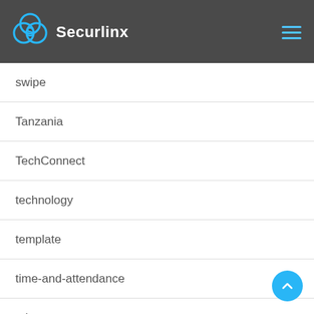Securlinx
swipe
Tanzania
TechConnect
technology
template
time-and-attendance
tokens
transparency